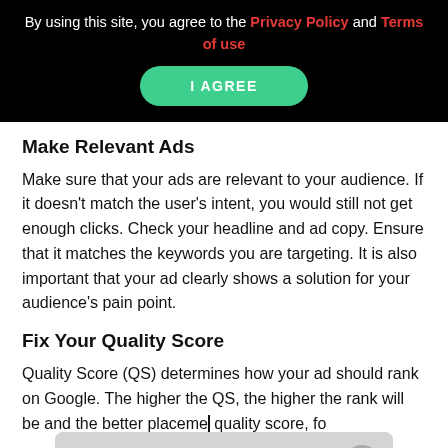By using this site, you agree to the Privacy Policy and Terms of use
[Figure (other): Green 'I AGREE' button on black banner]
Make Relevant Ads
Make sure that your ads are relevant to your audience. If it doesn't match the user's intent, you would still not get enough clicks. Check your headline and ad copy. Ensure that it matches the keywords you are targeting. It is also important that your ad clearly shows a solution for your audience's pain point.
Fix Your Quality Score
Quality Score (QS) determines how your ad should rank on Google. The higher the QS, the higher the rank will be and the better placeme... quality score, fo...
Our Support Team is from 9AM-6PM. Leave us a message.